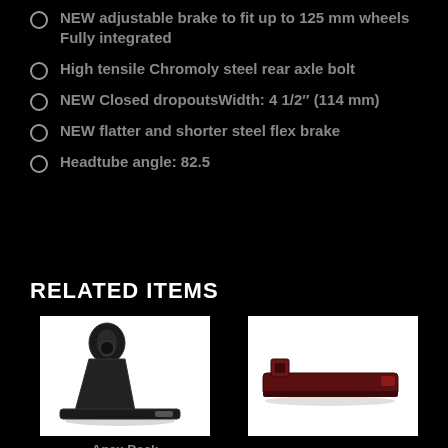NEW adjustable brake to fit up to 125 mm wheels Fully integrated
High tensile Chromoly steel rear axle bolt
NEW Closed dropoutsWidth: 4 1/2" (114 mm)
NEW flatter and shorter steel flex brake
Headtube angle: 82.5
RELATED ITEMS
[Figure (photo): Apex Deck scooter deck product photo on white background, black deck]
Apex Deck
[Figure (photo): Scooter deck product photo on white background, dark red/maroon colored deck]